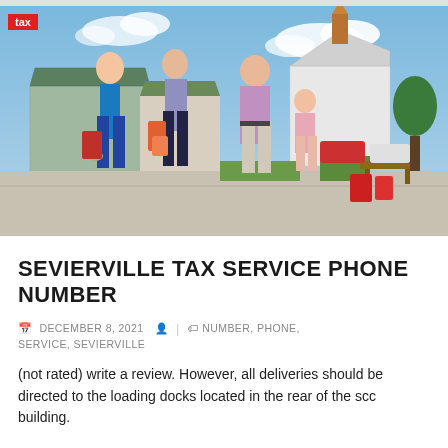[Figure (photo): A family of four adults and a child walking outdoors at what appears to be an outdoor shopping center or outlet mall. Visible buildings with green roofs and a white church-like structure with a copper spire in the background. People carrying shopping bags. Blue sky with clouds.]
SEVIERVILLE TAX SERVICE PHONE NUMBER
DECEMBER 8, 2021   NUMBER, PHONE, SERVICE, SEVIERVILLE
(not rated) write a review. However, all deliveries should be directed to the loading docks located in the rear of the scc building.